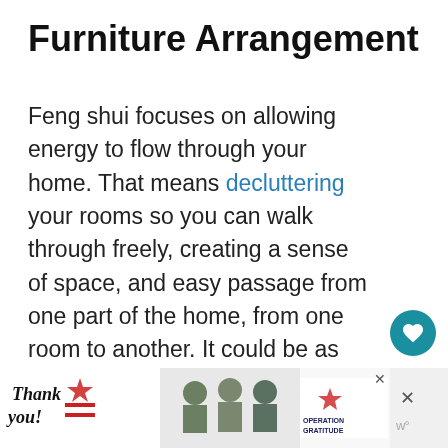Furniture Arrangement
Feng shui focuses on allowing energy to flow through your home. That means decluttering your rooms so you can walk through freely, creating a sense of space, and easy passage from one part of the home, from one room to another. It could be as simple as rearranging furniture and removing a few items.
[Figure (photo): Partial photo of a room interior with greenery visible on the left, and a 'What's Next' overlay card showing '9 Home Decorating...' with a thumbnail image. A gold/yellow bar visible at bottom right.]
[Figure (photo): Advertisement banner: 'Thank you!' text with American flag imagery and Operation Gratitude logo. Healthcare workers holding items. Close button visible.]